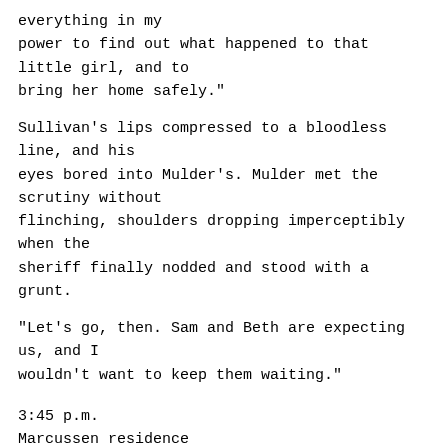everything in my power to find out what happened to that little girl, and to bring her home safely."
Sullivan's lips compressed to a bloodless line, and his eyes bored into Mulder's. Mulder met the scrutiny without flinching, shoulders dropping imperceptibly when the sheriff finally nodded and stood with a grunt.
"Let's go, then. Sam and Beth are expecting us, and I wouldn't want to keep them waiting."
3:45 p.m.
Marcussen residence
"Coffee, Agent Mulder?"
Beth Marcussen was a whip thin woman with